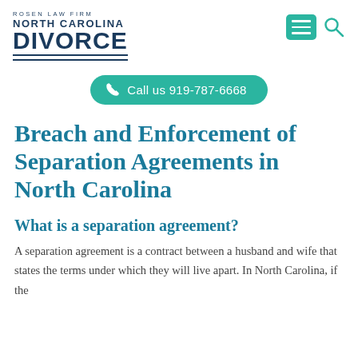ROSEN LAW FIRM NORTH CAROLINA DIVORCE
[Figure (logo): Rosen Law Firm North Carolina Divorce logo with menu and search icons]
Call us 919-787-6668
Breach and Enforcement of Separation Agreements in North Carolina
What is a separation agreement?
A separation agreement is a contract between a husband and wife that states the terms under which they will live apart. In North Carolina, if the